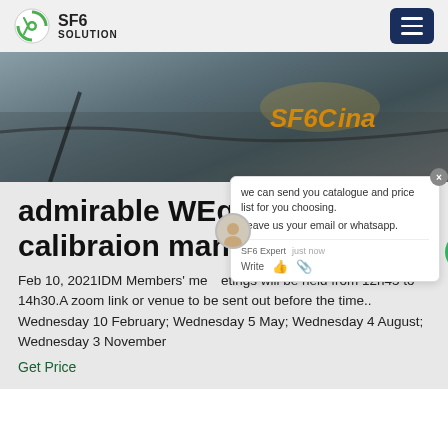SF6 SOLUTION
[Figure (photo): Hero image of industrial equipment/cables on ground with SF6China watermark text overlay]
admirable WEgrid calibraion manual
Feb 10, 2021IDM Members' meetings will be held from 12h45 to 14h30.A zoom link or venue to be sent out before the time.. Wednesday 10 February; Wednesday 5 May; Wednesday 4 August; Wednesday 3 November
Get Price